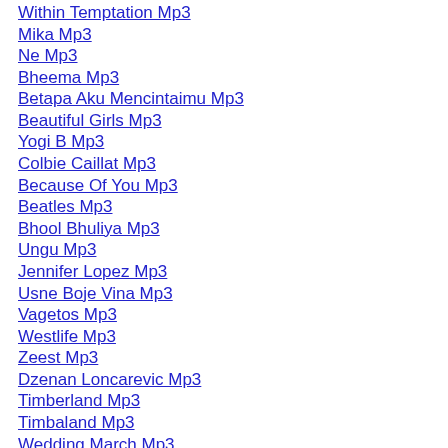Within Temptation Mp3
Mika Mp3
Ne Mp3
Bheema Mp3
Betapa Aku Mencintaimu Mp3
Beautiful Girls Mp3
Yogi B Mp3
Colbie Caillat Mp3
Because Of You Mp3
Beatles Mp3
Bhool Bhuliya Mp3
Ungu Mp3
Jennifer Lopez Mp3
Usne Boje Vina Mp3
Vagetos Mp3
Westlife Mp3
Zeest Mp3
Dzenan Loncarevic Mp3
Timberland Mp3
Timbaland Mp3
Wedding March Mp3
Massari Mp3
Sway Mp3
Colbie Caillat Mp3
J Squad Mp3